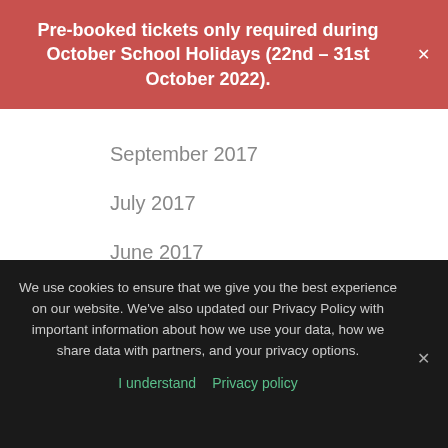Pre-booked tickets only required during October School Holidays (22nd – 31st October 2022).
September 2017
July 2017
June 2017
April 2017
February 2017
January 2017
December 2016
We use cookies to ensure that we give you the best experience on our website. We've also updated our Privacy Policy with important information about how we use your data, how we share data with partners, and your privacy options.
I understand   Privacy policy